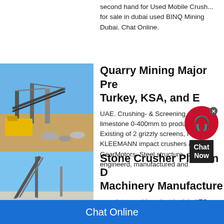second hand for Used Mobile Crushers for sale in dubai used BINQ Mining Dubai. Chat Online.
[Figure (photo): Outdoor quarry mining site with conveyor belts and yellow heavy machinery under blue sky]
Quarry Mining Major Pro Turkey, KSA, and E
UAE. Crushing- & Screening limestone 0-400mm to produce Existing of 2 grizzly screens, KLEEMANN impact crushers and ab GearMotors. Steel structure, chute w engineerd, manufactured and
[Figure (photo): Stone crusher plant with conveyor belt and crushed stone under blue sky]
Stone Crusher Plant In Machinery Manufacture
complete crushing plant in dubai TC
Chat Online